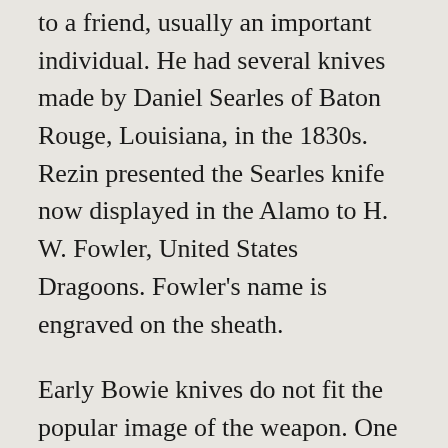to a friend, usually an important individual. He had several knives made by Daniel Searles of Baton Rouge, Louisiana, in the 1830s. Rezin presented the Searles knife now displayed in the Alamo to H. W. Fowler, United States Dragoons. Fowler's name is engraved on the sheath.
Early Bowie knives do not fit the popular image of the weapon. One thinks of a blade with a concave arch (clip point) cut into the end of the blade, and a cross-guard to protect the hand. Early examples, however, had a thick, heavy butcher-knife-like blade, with a straight back (top) and no clip point or hand guard. The blade varied in length from 8½ to 12½ inches and was sharpened on the true edge. Wooden handles were attached with silver pins and washers. The Searles